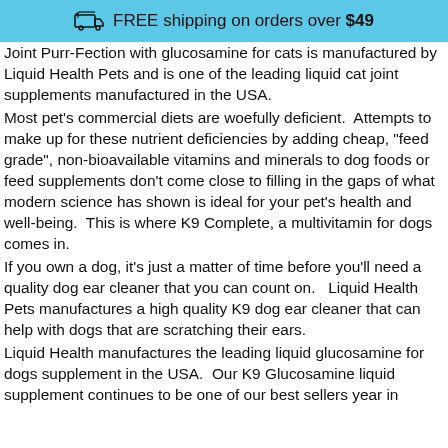FREE shipping on orders over $49
Joint Purr-Fection with glucosamine for cats is manufactured by Liquid Health Pets and is one of the leading liquid cat joint supplements manufactured in the USA.
Most pet's commercial diets are woefully deficient.  Attempts to make up for these nutrient deficiencies by adding cheap, "feed grade", non-bioavailable vitamins and minerals to dog foods or feed supplements don't come close to filling in the gaps of what modern science has shown is ideal for your pet's health and well-being.  This is where K9 Complete, a multivitamin for dogs comes in.
If you own a dog, it's just a matter of time before you'll need a quality dog ear cleaner that you can count on.   Liquid Health Pets manufactures a high quality K9 dog ear cleaner that can help with dogs that are scratching their ears.
Liquid Health manufactures the leading liquid glucosamine for dogs supplement in the USA.  Our K9 Glucosamine liquid supplement continues to be one of our best sellers year in